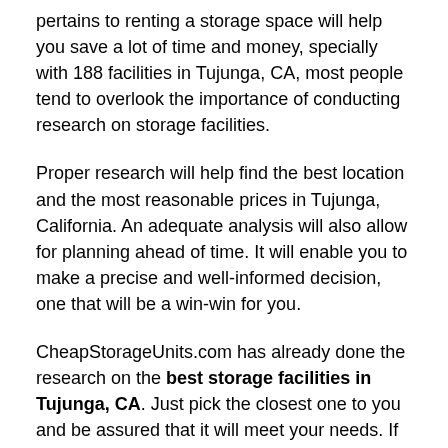pertains to renting a storage space will help you save a lot of time and money, specially with 188 facilities in Tujunga, CA, most people tend to overlook the importance of conducting research on storage facilities.
Proper research will help find the best location and the most reasonable prices in Tujunga, California. An adequate analysis will also allow for planning ahead of time. It will enable you to make a precise and well-informed decision, one that will be a win-win for you.
CheapStorageUnits.com has already done the research on the best storage facilities in Tujunga, CA. Just pick the closest one to you and be assured that it will meet your needs. If you want to rent a storage facility in Tujunga and you have no idea how to go about it, CheapStorageUnits.com has taken the guess work out of the equation, just click, pick the storage units more suitable